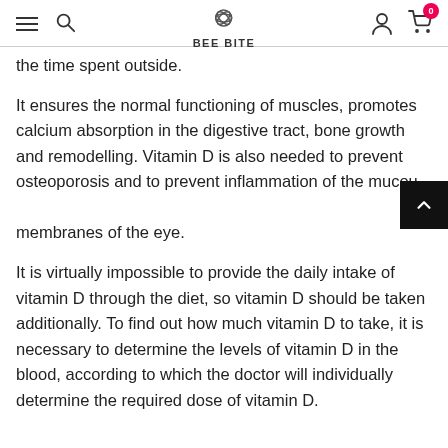BEE BITE
the time spent outside.
It ensures the normal functioning of muscles, promotes calcium absorption in the digestive tract, bone growth and remodelling. Vitamin D is also needed to prevent osteoporosis and to prevent inflammation of the mucous membranes of the eye.
It is virtually impossible to provide the daily intake of vitamin D through the diet, so vitamin D should be taken additionally. To find out how much vitamin D to take, it is necessary to determine the levels of vitamin D in the blood, according to which the doctor will individually determine the required dose of vitamin D.